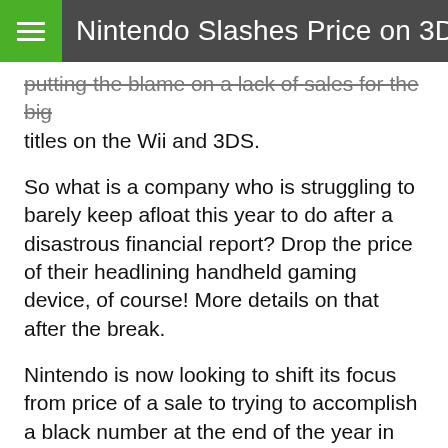Nintendo Slashes Price on 3DS
putting the blame on a lack of sales for the big titles on the Wii and 3DS.
So what is a company who is struggling to barely keep afloat this year to do after a disastrous financial report? Drop the price of their headlining handheld gaming device, of course! More details on that after the break.
Nintendo is now looking to shift its focus from price of a sale to trying to accomplish a black number at the end of the year in quantity of sales by dropping the price of the 3DS. As of August 12th, the 3D gaming system will be slashed by $80 from $249.99 to $169.99 here in the US.